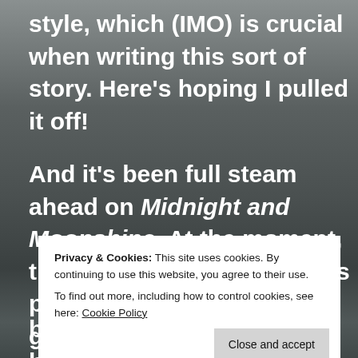style, which (IMO) is crucial when writing this sort of story. Here's hoping I pulled it off!
And it's been full steam ahead on Midnight and Moonshine. At the moment, the collection has 14 stories planned and I've made a good dint in three of them in the past week or two. Working on an original collection is much like writing a novel: you spend a lot of time i... i... s... g... building up to something big and awesome...
Privacy & Cookies: This site uses cookies. By continuing to use this website, you agree to their use.
To find out more, including how to control cookies, see here: Cookie Policy
Close and accept